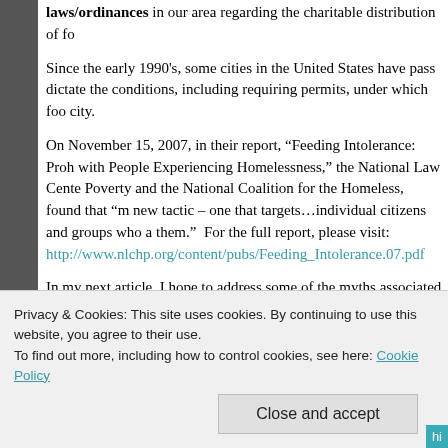laws/ordinances in our area regarding the charitable distribution of food.
Since the early 1990's, some cities in the United States have passed laws that dictate the conditions, including requiring permits, under which food can be given in that city.
On November 15, 2007, in their report, “Feeding Intolerance: Prohibitions on Sharing Food with People Experiencing Homelessness,” the National Law Center on Homelessness and Poverty and the National Coalition for the Homeless, found that “many cities are using a new tactic – one that targets…individual citizens and groups who are trying to feed them.”  For the full report, please visit: http://www.nlchp.org/content/pubs/Feeding_Intolerance.07.pdf
In my next article, I hope to address some of the myths associated with the charitable giving of food.
Please let me know what you think about the charitable giving of food.
Privacy & Cookies: This site uses cookies. By continuing to use this website, you agree to their use.
To find out more, including how to control cookies, see here: Cookie Policy